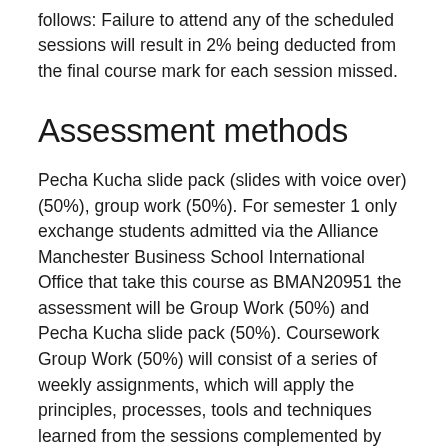follows: Failure to attend any of the scheduled sessions will result in 2% being deducted from the final course mark for each session missed.
Assessment methods
Pecha Kucha slide pack (slides with voice over) (50%), group work (50%). For semester 1 only exchange students admitted via the Alliance Manchester Business School International Office that take this course as BMAN20951 the assessment will be Group Work (50%) and Pecha Kucha slide pack (50%). Coursework Group Work (50%) will consist of a series of weekly assignments, which will apply the principles, processes, tools and techniques learned from the sessions complemented by additional reading and research on a project of your choice group work includes peer assessment (see